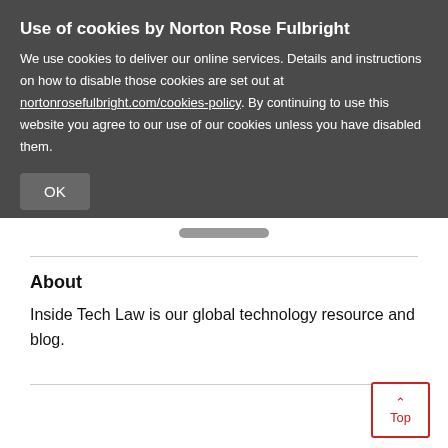Use of cookies by Norton Rose Fulbright
We use cookies to deliver our online services. Details and instructions on how to disable those cookies are set out at nortonrosefulbright.com/cookies-policy. By continuing to use this website you agree to our use of our cookies unless you have disabled them.
OK
About
Inside Tech Law is our global technology resource and blog.